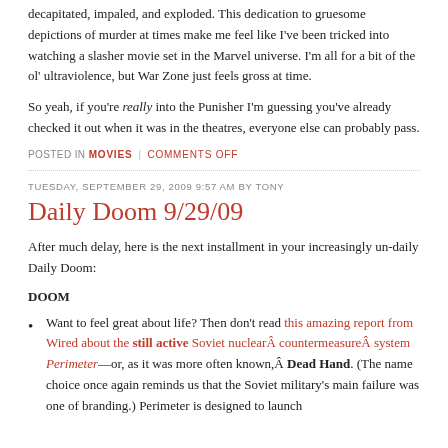decapitated, impaled, and exploded. This dedication to gruesome depictions of murder at times make me feel like I've been tricked into watching a slasher movie set in the Marvel universe. I'm all for a bit of the ol' ultraviolence, but War Zone just feels gross at time.
So yeah, if you're really into the Punisher I'm guessing you've already checked it out when it was in the theatres, everyone else can probably pass.
POSTED IN MOVIES | COMMENTS OFF
TUESDAY, SEPTEMBER 29, 2009 9:57 AM BY TONY
Daily Doom 9/29/09
After much delay, here is the next installment in your increasingly un-daily Daily Doom:
DOOM
Want to feel great about life? Then don't read this amazing report from Wired about the still active Soviet nuclearÂ countermeasureÂ system Perimeterâ€”or, as it was more often known,Â Dead Hand. (The name choice once again reminds us that the Soviet military's main failure was one of branding.) Perimeter is designed to launch